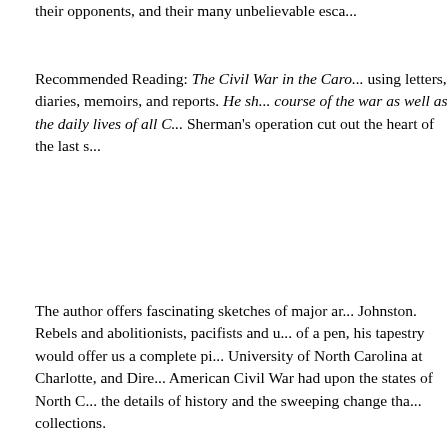their opponents, and their many unbelievable esca...
Recommended Reading: The Civil War in the Caro... using letters, diaries, memoirs, and reports. He sh... course of the war as well as the daily lives of all C... Sherman's operation cut out the heart of the last s...
The author offers fascinating sketches of major ar... Johnston. Rebels and abolitionists, pacifists and u... of a pen, his tapestry would offer us a complete pi... University of North Carolina at Charlotte, and Dire... American Civil War had upon the states of North C... the details of history and the sweeping change tha... collections.